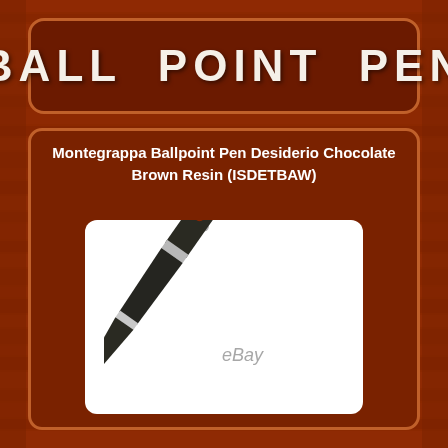BALL POINT PEN
Montegrappa Ballpoint Pen Desiderio Chocolate Brown Resin (ISDETBAW)
[Figure (photo): A dark chocolate brown ballpoint pen with silver/chrome accents at the top cap and tip, standing at an angle. The pen has a clip, a jewel accent, and crystal-like decorative elements near the grip section. eBay watermark visible at the bottom.]